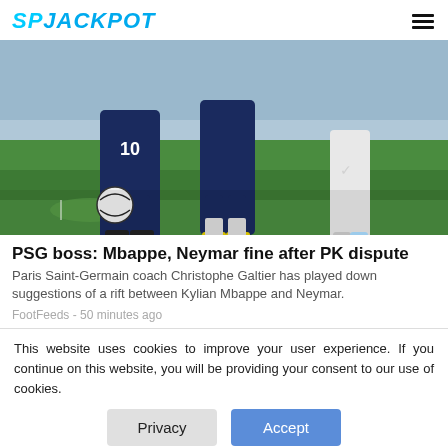SPJACKPOT
[Figure (photo): Two PSG football players wearing dark blue jerseys (one with number 10) on a football pitch; one player is placing/picking up a ball near the corner spot; yellow boots visible in the background against a green grass field.]
PSG boss: Mbappe, Neymar fine after PK dispute
Paris Saint-Germain coach Christophe Galtier has played down suggestions of a rift between Kylian Mbappe and Neymar.
FootFeeds - 50 minutes ago
This website uses cookies to improve your user experience. If you continue on this website, you will be providing your consent to our use of cookies.